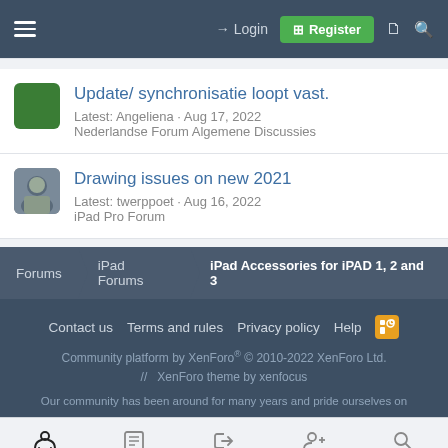Login  Register
Update/ synchronisatie loopt vast.
Latest: Angeliena · Aug 17, 2022
Nederlandse Forum Algemene Discussies
Drawing issues on new 2021
Latest: twerppoet · Aug 16, 2022
iPad Pro Forum
Forums  iPad Forums  iPad Accessories for iPAD 1, 2 and 3
Contact us  Terms and rules  Privacy policy  Help
Community platform by XenForo® © 2010-2022 XenForo Ltd.
// XenForo theme by xenfocus
Our community has been around for many years and pride ourselves on
Forums  What's New  Log In  Register  Search